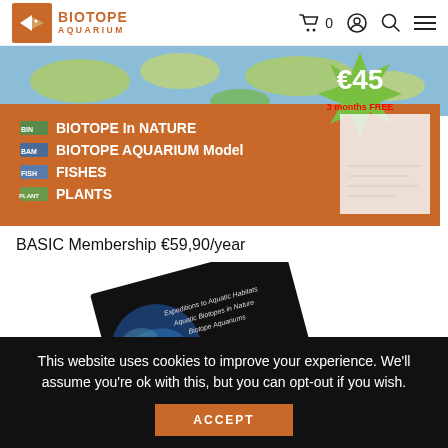BIOTOPE AQUARIUM — navigation bar with cart, user, search, and menu icons
[Figure (illustration): Biotope Aquarium subscription banner showing a world map background, orange panel with text listing: BIOTOPE In NATURE, BIOTOPE AQUARIUM Model, FISHES, PLANTS. A green star burst shape shows €45. Text reads '3 months FREE'.]
BASIC Membership €59,90/year
[Figure (photo): A tilted dark book cover with text 'Expeditions to Aquatic Habitats, Aquatic Biotopes in Nature, Biotope Aquariums' and partial title starting with 'Blek...' visible at bottom left, showing earth/globe imagery.]
This website uses cookies to improve your experience. We'll assume you're ok with this, but you can opt-out if you wish.
ACCEPT